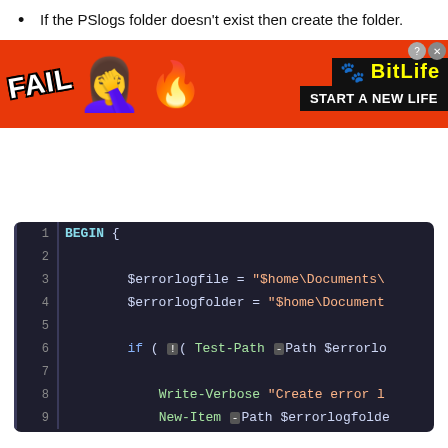If the PSlogs folder doesn't exist then create the folder.
Check if file Error_Log.txt exists in the folder PSlogs.
If Error_Log.txt doesn't exist then create the file.
Now we can move on to PROCESS block code.
[Figure (screenshot): Code editor screenshot showing PowerShell BEGIN block with variable assignments for $errorlogfile and $errorlogfolder, and an if statement testing Test-Path, with Write-Verbose and New-Item commands on lines 1-9.]
[Figure (other): Advertisement banner for BitLife game showing FAIL text, facepalm emoji, flames, sperm logo, and 'START A NEW LIFE' text.]